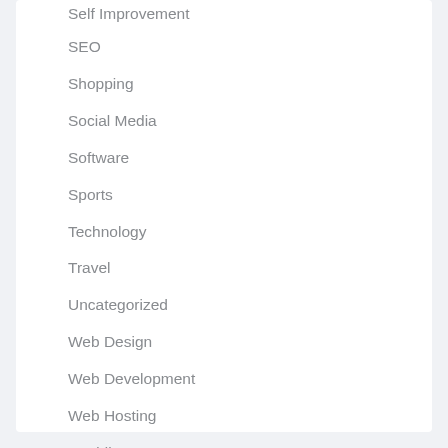Self Improvement
SEO
Shopping
Social Media
Software
Sports
Technology
Travel
Uncategorized
Web Design
Web Development
Web Hosting
Wedding